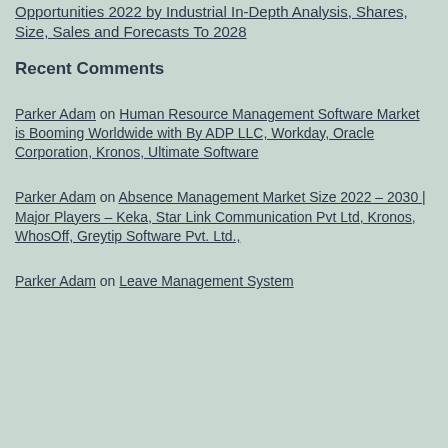Opportunities 2022 by Industrial In-Depth Analysis, Shares, Size, Sales and Forecasts To 2028
Recent Comments
Parker Adam on Human Resource Management Software Market is Booming Worldwide with By ADP LLC, Workday, Oracle Corporation, Kronos, Ultimate Software
Parker Adam on Absence Management Market Size 2022 – 2030 | Major Players – Keka, Star Link Communication Pvt Ltd, Kronos, WhosOff, Greytip Software Pvt. Ltd.,
Parker Adam on Leave Management System